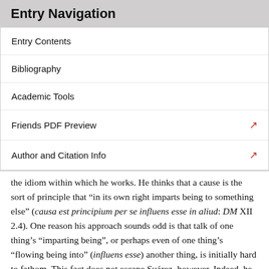Entry Navigation
Entry Contents
Bibliography
Academic Tools
Friends PDF Preview
Author and Citation Info
the idiom within which he works. He thinks that a cause is the sort of principle that “in its own right imparts being to something else” (causa est principium per se influens esse in aliud: DM XII 2.4). One reason his approach sounds odd is that talk of one thing’s “imparting being”, or perhaps even of one thing’s “flowing being into” (influens esse) another thing, is initially hard to fathom. This fact does not escape Suárez, however. Indeed, he calls attention to this very word “flowing” (influens) and glosses it simply as “giving” or “communicating” being to another thing (dandi vel communicandi esse alteri). So at